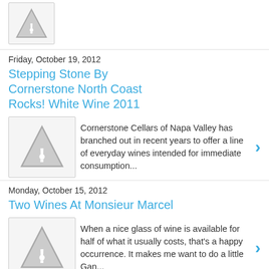[Figure (illustration): Warning triangle icon (gray exclamation mark) partially visible at top]
Friday, October 19, 2012
Stepping Stone By Cornerstone North Coast Rocks! White Wine 2011
[Figure (illustration): Warning triangle icon (gray exclamation mark)]
Cornerstone Cellars of Napa Valley has branched out in recent years to offer a line of everyday wines intended for immediate consumption...
Monday, October 15, 2012
Two Wines At Monsieur Marcel
[Figure (illustration): Warning triangle icon (gray exclamation mark)]
When a nice glass of wine is available for half of what it usually costs, that's a happy occurrence.  It makes me want to do a little Gan...
Thursday, July 28, 2011